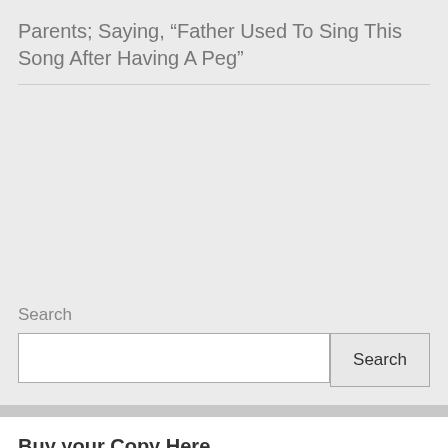Parents; Saying, “Father Used To Sing This Song After Having A Peg”
Search
Buy your Copy Here.